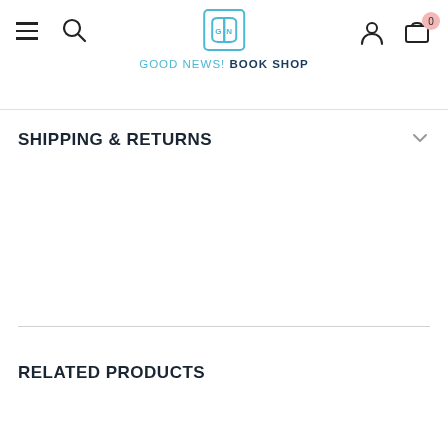GOOD NEWS! BOOK SHOP
SHIPPING & RETURNS
RELATED PRODUCTS